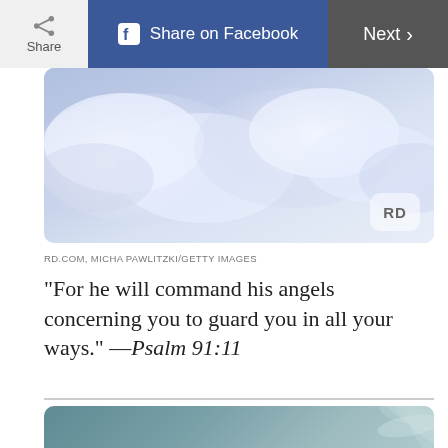[Figure (screenshot): Top navigation bar with Share button, Share on Facebook button (blue), and Next button (gray)]
[Figure (photo): Photograph of clouds in a blue sky with an 'RD' watermark badge in the lower right corner]
RD.COM, MICHA PAWLITZKI/GETTY IMAGES
“For he will command his angels concerning you to guard you in all your ways.” —Psalm 91:11
[Figure (photo): Image card with teal/blue-gray background and palm frond texture in upper right, containing quote text: “For the Son of Man is going to come in his Father’s]